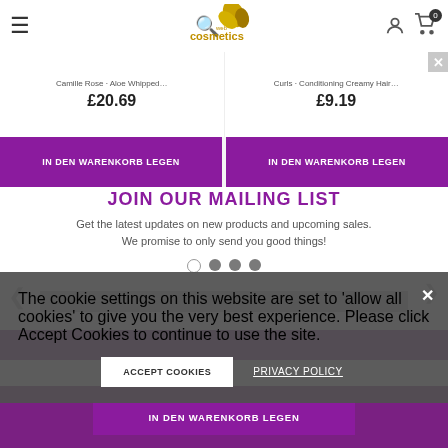[Figure (screenshot): Web Cosmetics e-commerce website header with hamburger menu, search icon, logo with golden leaf design, user account icon, and cart with 0 items badge]
Camille Rose · Aloe Whipped... £20.69
Curls · Conditioning Creamy Hair... £9.19
IN DEN WARENKORB LEGEN
IN DEN WARENKORB LEGEN
JOIN OUR MAILING LIST
Get the latest updates on new products and upcoming sales. We promise to only send you good things!
The cookie settings on this website are set to 'allow all cookies' to give you the very best experience. Please click Accept Cookies to continue to use the site.
ACCEPT COOKIES
PRIVACY POLICY
IN DEN WARENKORB LEGEN